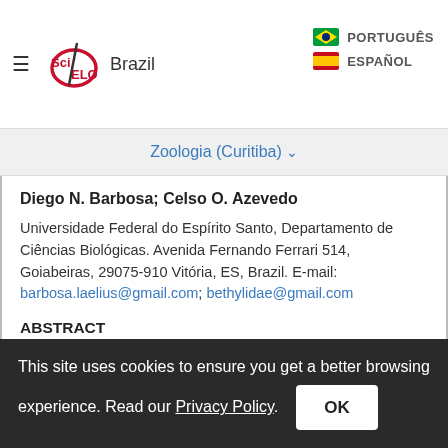SciELO Brazil | PORTUGUÊS | ESPAÑOL
Zoologia (Curitiba) ∨
Diego N. Barbosa; Celso O. Azevedo
Universidade Federal do Espírito Santo, Departamento de Ciências Biológicas. Avenida Fernando Ferrari 514, Goiabeiras, 29075-910 Vitória, ES, Brazil. E-mail: barbosa.laelius@gmail.com; bethylidae@gmail.com
ABSTRACT
Laelius Ashmead includes 54 known nominal
This site uses cookies to ensure you get a better browsing experience. Read our Privacy Policy.